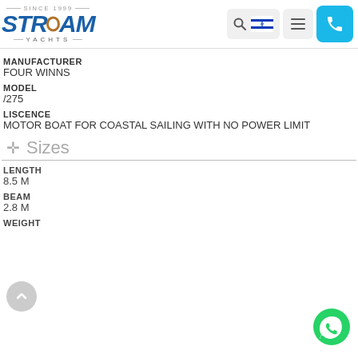[Figure (logo): Stream Yachts logo with 'Since 1999' above and 'YACHTS' below in dark blue italic bold text with a circular accent on the letter O]
MANUFACTURER
FOUR WINNS
MODEL
/275
LISCENCE
MOTOR BOAT FOR COASTAL SAILING WITH NO POWER LIMIT
✛ Sizes
LENGTH
8.5 M
BEAM
2.8 M
WEIGHT